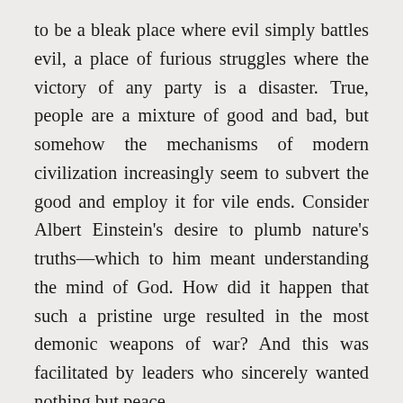to be a bleak place where evil simply battles evil, a place of furious struggles where the victory of any party is a disaster. True, people are a mixture of good and bad, but somehow the mechanisms of modern civilization increasingly seem to subvert the good and employ it for vile ends. Consider Albert Einstein's desire to plumb nature's truths—which to him meant understanding the mind of God. How did it happen that such a pristine urge resulted in the most demonic weapons of war? And this was facilitated by leaders who sincerely wanted nothing but peace.
Under the circumstances, our longing for the moral simplicity of unambiguous good contesting an equally unambiguous evil is understandable. I'm sure such a longing contributed to the vast popularity of the Star Wars films. Of course, we seek in fantasy what we can't find in reality. Not long ago, it was thought that this